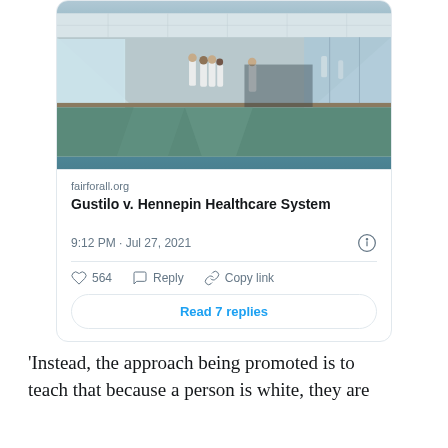[Figure (screenshot): Screenshot of a tweet card showing a hospital corridor photo, a link preview for 'Gustilo v. Hennepin Healthcare System' from fairforall.org, timestamp '9:12 PM · Jul 27, 2021', like count 564, Reply and Copy link actions, and a 'Read 7 replies' button.]
'Instead, the approach being promoted is to teach that because a person is white, they are